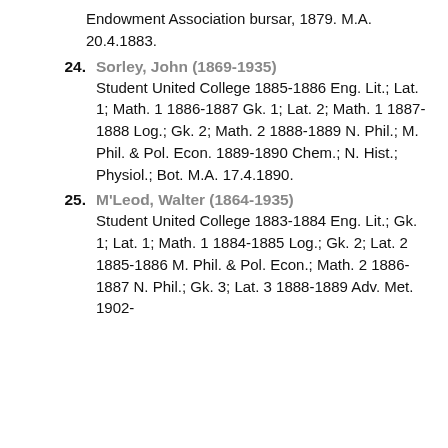Endowment Association bursar, 1879. M.A. 20.4.1883.
24. Sorley, John (1869-1935) Student United College 1885-1886 Eng. Lit.; Lat. 1; Math. 1 1886-1887 Gk. 1; Lat. 2; Math. 1 1887-1888 Log.; Gk. 2; Math. 2 1888-1889 N. Phil.; M. Phil. & Pol. Econ. 1889-1890 Chem.; N. Hist.; Physiol.; Bot. M.A. 17.4.1890.
25. M'Leod, Walter (1864-1935) Student United College 1883-1884 Eng. Lit.; Gk. 1; Lat. 1; Math. 1 1884-1885 Log.; Gk. 2; Lat. 2 1885-1886 M. Phil. & Pol. Econ.; Math. 2 1886-1887 N. Phil.; Gk. 3; Lat. 3 1888-1889 Adv. Met. 1902-